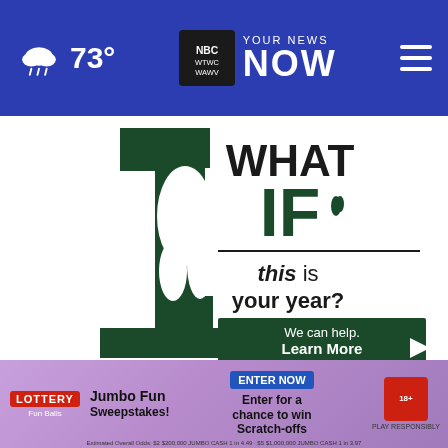73° | YOUR NEWS NOW | WTWC WAWV NBC2
[Figure (illustration): WHAT IF this is your year? We can help. Learn More. Dark green illustrated advertisement with large numeral 1 and flame/leaf graphic.]
WHAT DO YOU THINK?
Do you ... or the IR...
[Figure (infographic): Lottery Jumbo Fun Sweepstakes advertisement banner. Enter for a chance to win Scratch-offs. ENTER NOW button. 18+.]